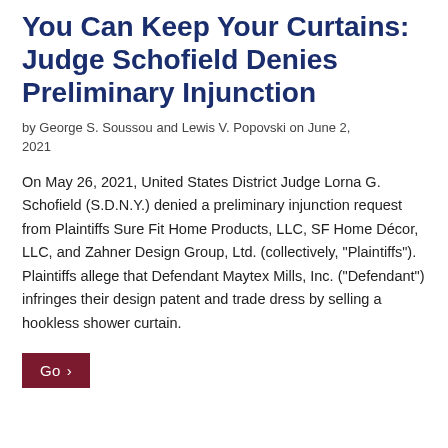You Can Keep Your Curtains: Judge Schofield Denies Preliminary Injunction
by George S. Soussou and Lewis V. Popovski on June 2, 2021
On May 26, 2021, United States District Judge Lorna G. Schofield (S.D.N.Y.) denied a preliminary injunction request from Plaintiffs Sure Fit Home Products, LLC, SF Home Décor, LLC, and Zahner Design Group, Ltd. (collectively, "Plaintiffs"). Plaintiffs allege that Defendant Maytex Mills, Inc. ("Defendant") infringes their design patent and trade dress by selling a hookless shower curtain.
Go ›